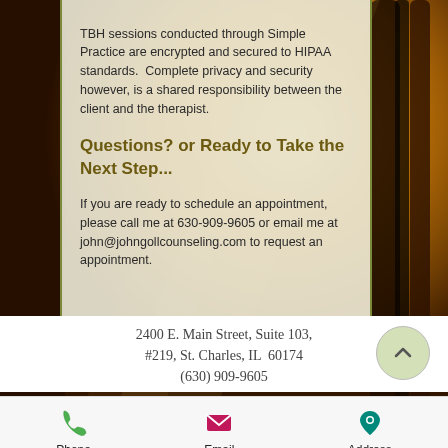[Figure (photo): Forest background with warm golden sunlight filtering through trees]
TBH sessions conducted through Simple Practice are encrypted and secured to HIPAA standards.  Complete privacy and security however, is a shared responsibility between the client and the therapist.
Questions? or Ready to Take the Next Step...
If you are ready to schedule an appointment, please call me at 630-909-9605 or email me at john@johngollcounseling.com to request an appointment.
2400 E. Main Street, Suite 103, #219, St. Charles, IL  60174
(630) 909-9605
[Figure (infographic): Bottom navigation bar with Phone, Email, and Address icons]